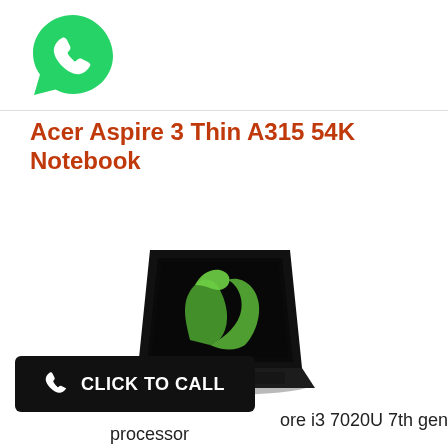[Figure (logo): WhatsApp logo — white phone handset on green speech-bubble background]
Acer Aspire 3 Thin A315 54K Notebook
[Figure (photo): Acer laptop (black) shown at an angle, screen displaying a green dragon/phoenix graphic on black background]
[Figure (other): Black button with white phone icon and text CLICK TO CALL]
ore i3 7020U 7th gen processor